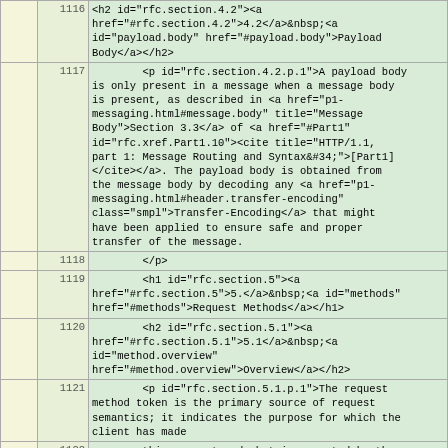|  | Line | Content |
| --- | --- | --- |
|  | 1116 | <h2 id="rfc.section.4.2"><a href="#rfc.section.4.2">4.2</a>&nbsp;<a id="payload.body" href="#payload.body">Payload Body</a></h2> |
|  | 1117 |         <p id="rfc.section.4.2.p.1">A payload body is only present in a message when a message body is present, as described in <a href="p1-messaging.html#message.body" title="Message Body">Section 3.3</a> of <a href="#Part1" id="rfc.xref.Part1.10"><cite title="HTTP/1.1, part 1: Message Routing and Syntax&#34;">[Part1]</cite></a>. The payload body is obtained from the message body by decoding any <a href="p1-messaging.html#header.transfer-encoding" class="smpl">Transfer-Encoding</a> that might have been applied to ensure safe and proper transfer of the message. |
|  | 1118 |         </p> |
|  | 1119 |         <h1 id="rfc.section.5"><a href="#rfc.section.5">5.</a>&nbsp;<a id="methods" href="#methods">Request Methods</a></h1> |
|  | 1120 |         <h2 id="rfc.section.5.1"><a href="#rfc.section.5.1">5.1</a>&nbsp;<a id="method.overview" href="#method.overview">Overview</a></h2> |
|  | 1121 |         <p id="rfc.section.5.1.p.1">The request method token is the primary source of request semantics; it indicates the purpose for which the client has made |
|  | 1122 |         this request and what is expected by the client as a successful result. The request semantics <em class="bcp14">MAY</em> be further specialized by the semantics of some header fields when present in a request (<a href="#request.header.fields" title="Request Header Fields">Section&nbsp;6</a>) if those additional constraints are consistent with |